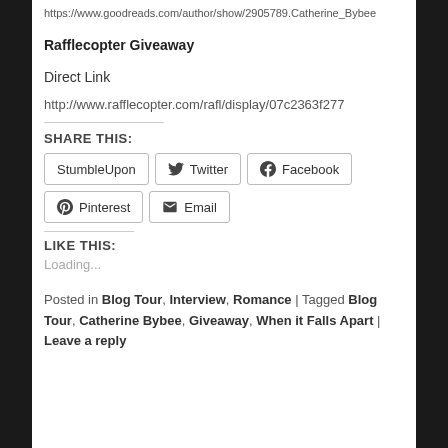https://www.goodreads.com/author/show/2905789.Catherine_Bybee
Rafflecopter Giveaway
Direct Link
http://www.rafflecopter.com/rafl/display/07c2363f277
SHARE THIS:
StumbleUpon | Twitter | Facebook | Pinterest | Email
LIKE THIS:
Loading...
Posted in Blog Tour, Interview, Romance | Tagged Blog Tour, Catherine Bybee, Giveaway, When it Falls Apart | Leave a reply